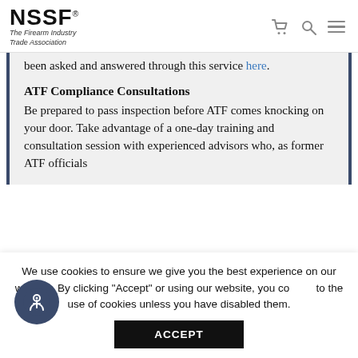NSSF® The Firearm Industry Trade Association
been asked and answered through this service here.
ATF Compliance Consultations
Be prepared to pass inspection before ATF comes knocking on your door. Take advantage of a one-day training and consultation session with experienced advisors who, as former ATF officials
We use cookies to ensure we give you the best experience on our website. By clicking "Accept" or using our website, you consent to the use of cookies unless you have disabled them.